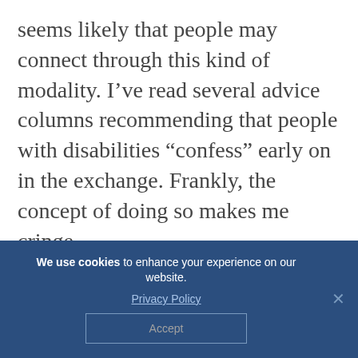seems likely that people may connect through this kind of modality. I've read several advice columns recommending that people with disabilities “confess” early on in the exchange. Frankly, the concept of doing so makes me cringe.
What message are we encouraging about disability when we make it a focal point of human interaction? If I were to inform a potential date about my disability
We use cookies to enhance your experience on our website. Privacy Policy Accept